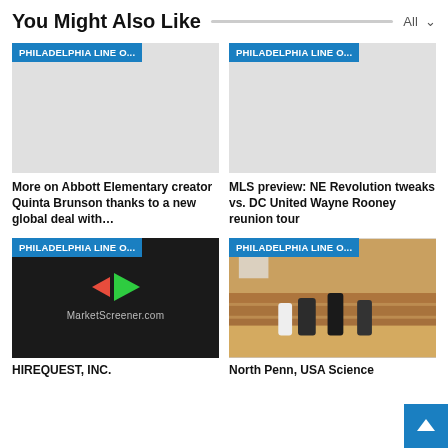You Might Also Like
[Figure (screenshot): Gray placeholder image with PHILADELPHIA LINE O... badge]
More on Abbott Elementary creator Quinta Brunson thanks to a new global deal with…
[Figure (screenshot): Gray placeholder image with PHILADELPHIA LINE O... badge]
MLS preview: NE Revolution tweaks vs. DC United Wayne Rooney reunion tour
[Figure (photo): MarketScreener.com logo on dark background with PHILADELPHIA LINE O... badge]
HIREQUEST, INC.
[Figure (photo): Basketball game photo with players on court and spectators in stands, PHILADELPHIA LINE O... badge]
North Penn, USA Science